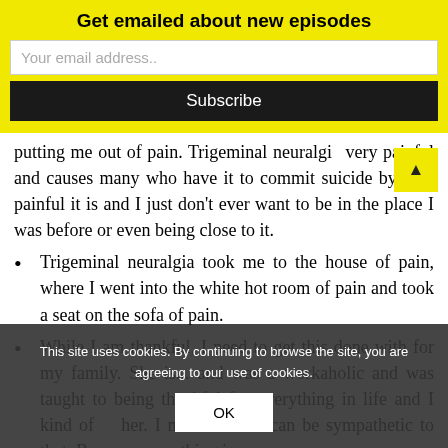Get emailed about new episodes
Your email address..
Subscribe
putting me out of pain. Trigeminal neuralgi… very painful and causes many who have it to commit suicide by how painful it is and I just don't ever want to be in the place I was before or even being close to it.
Trigeminal neuralgia took me to the house of pain, where I went into the white hot room of pain and took a seat on the sofa of pain.
While I am thankful, I need to get this done with for my family. She is... and was a workaholic and was taught to being thankful for everything in life and I kind of ... her. I must admit I can be sympathetic to that. Because everything is
This site uses cookies. By continuing to browse the site, you are agreeing to our use of cookies.
OK